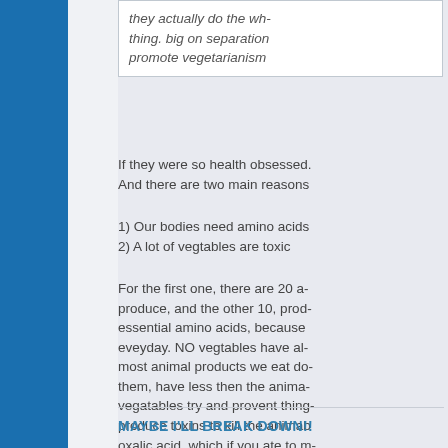they actually do the wh- thing. big on separation promote vegetarianism
If they were so health obsessed. And there are two main reasons
1) Our bodies need amino acids
2) A lot of vegtables are toxic
For the first one, there are 20 a- produce, and the other 10, prod- essential amino acids, because eveyday. NO vegtables have al- most animal products we eat do- them, have less then the anima- vegatables try and provent thing- produce toxins to kill the animab oxalic acid, which if you ate to m-
MAYBE I'LL BREAK DOWN!!